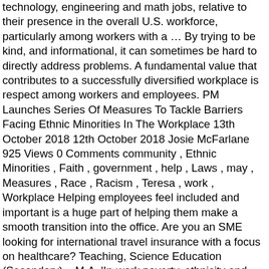technology, engineering and math jobs, relative to their presence in the overall U.S. workforce, particularly among workers with a … By trying to be kind, and informational, it can sometimes be hard to directly address problems. A fundamental value that contributes to a successfully diversified workplace is respect among workers and employees. PM Launches Series Of Measures To Tackle Barriers Facing Ethnic Minorities In The Workplace 13th October 2018 12th October 2018 Josie McFarlane 925 Views 0 Comments community , Ethnic Minorities , Faith , government , help , Laws , may , Measures , Race , Racism , Teresa , work , Workplace Helping employees feel included and important is a huge part of helping them make a smooth transition into the office. Are you an SME looking for international travel insurance with a focus on healthcare? Teaching, Science Education (Secondary) – M.A. 'In-work poverty, ethnicity and workplace cultures' found that while many organisations support career progression,